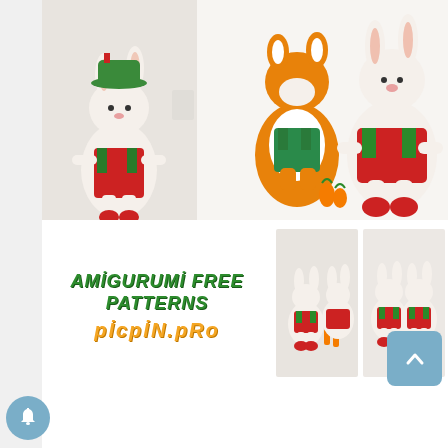[Figure (photo): Collage of crocheted amigurumi rabbit dolls in red/green/orange outfits. Left: single white rabbit doll with red shoes and green-red overalls. Center and right top: orange fox/bunny amigurumi with carrots and a large white rabbit in red overalls. Small thumbnail images of the same dolls on the right side. Text overlay: 'AMIGURUMI FREE PATTERNS' in green and 'PICPIN.PRO' in orange.]